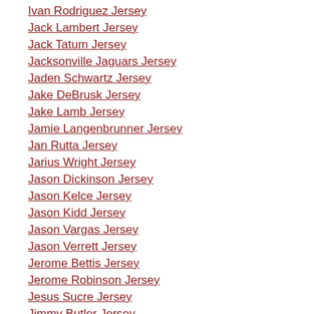Ivan Rodriguez Jersey
Jack Lambert Jersey
Jack Tatum Jersey
Jacksonville Jaguars Jersey
Jaden Schwartz Jersey
Jake DeBrusk Jersey
Jake Lamb Jersey
Jamie Langenbrunner Jersey
Jan Rutta Jersey
Jarius Wright Jersey
Jason Dickinson Jersey
Jason Kelce Jersey
Jason Kidd Jersey
Jason Vargas Jersey
Jason Verrett Jersey
Jerome Bettis Jersey
Jerome Robinson Jersey
Jesus Sucre Jersey
Jimmy Butler Jersey
Jimmy Hayes Jersey
Joe Berger Jersey